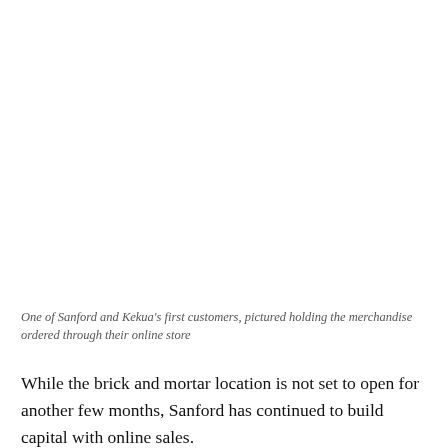One of Sanford and Kekua's first customers, pictured holding the merchandise ordered through their online store
While the brick and mortar location is not set to open for another few months, Sanford has continued to build capital with online sales.